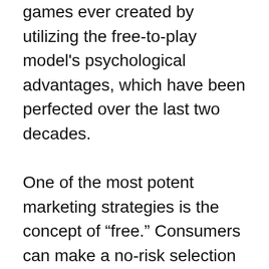games ever created by utilizing the free-to-play model's psychological advantages, which have been perfected over the last two decades.

One of the most potent marketing strategies is the concept of “free.” Consumers can make a no-risk selection with next to no effort when they choose 'free'. In our human nature, we want to avoid both loss and effort while deciding if